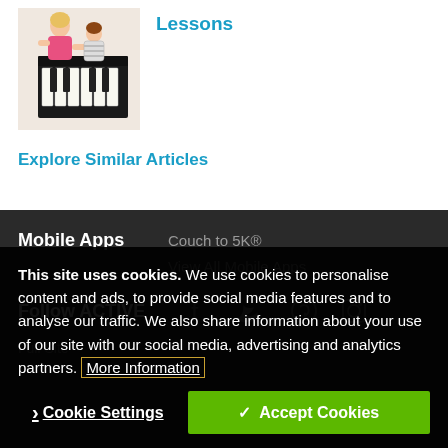[Figure (photo): Photo of a woman and child at a piano keyboard]
Lessons
Explore Similar Articles
Mobile Apps
Couch to 5K®
View All Mobile Apps
Follow ACTIVE
Full Site
This site uses cookies. We use cookies to personalise content and ads, to provide social media features and to analyse our traffic. We also share information about your use of our site with our social media, advertising and analytics partners. More Information
Cookie Settings
Accept Cookies